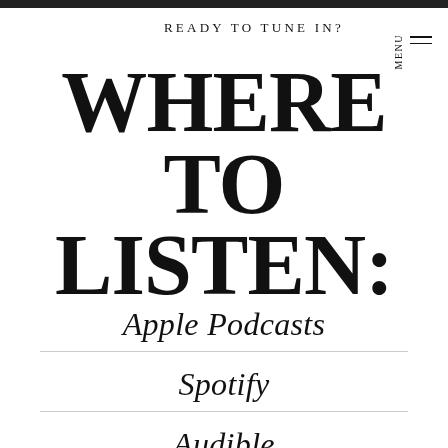READY TO TUNE IN?
WHERE TO LISTEN:
Apple Podcasts
Spotify
Audible